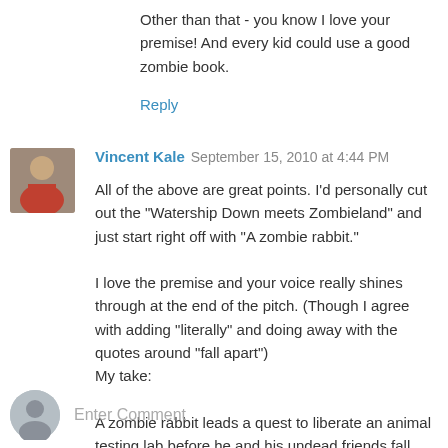Other than that - you know I love your premise! And every kid could use a good zombie book.
Reply
Vincent Kale  September 15, 2010 at 4:44 PM
All of the above are great points. I'd personally cut out the "Watership Down meets Zombieland" and just start right off with "A zombie rabbit."

I love the premise and your voice really shines through at the end of the pitch. (Though I agree with adding "literally" and doing away with the quotes around "fall apart")
My take:

A zombie rabbit leads a quest to liberate an animal testing lab before he and his undead friends fall apart, literally.
Reply
Enter Comment